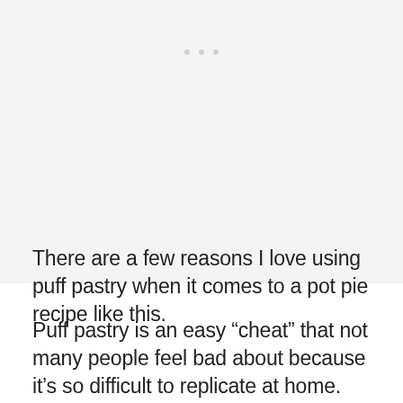[Figure (other): A light gray placeholder image area with three small gray dots near the top center]
There are a few reasons I love using puff pastry when it comes to a pot pie recipe like this.
Puff pastry is an easy “cheat” that not many people feel bad about because it’s so difficult to replicate at home. Pie crust? I can make easily enough myself but puff pastry? So much more intimidating!